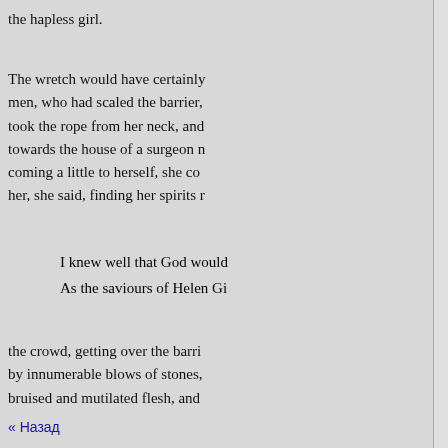the hapless girl.
The wretch would have certainly men, who had scaled the barrier, took the rope from her neck, and towards the house of a surgeon n coming a little to herself, she co her, she said, finding her spirits r
I knew well that God would As the saviours of Helen Gi
the crowd, getting over the barri by innumerable blows of stones, bruised and mutilated flesh, and
At the house of the surgeon Ja profession in Burgundy) Helen h authorities. Besides the two infli which passed between the windp tongue and palate were lacerated gashes in the head, and several w
« Назад